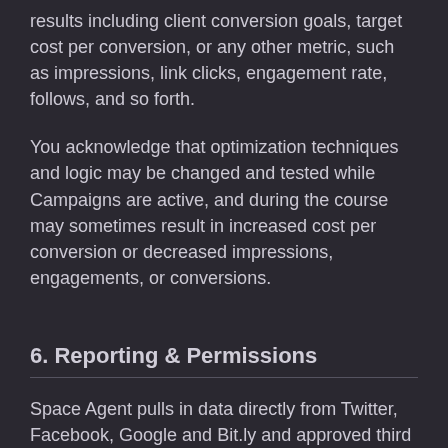results including client conversion goals, target cost per conversion, or any other metric, such as impressions, link clicks, engagement rate, follows, and so forth.
You acknowledge that optimization techniques and logic may be changed and tested while Campaigns are active, and during the course may sometimes result in increased cost per conversion or decreased impressions, engagements, or conversions.
6. Reporting & Permissions
Space Agent pulls in data directly from Twitter, Facebook, Google and Bit.ly and approved third parties, and is not responsible for any